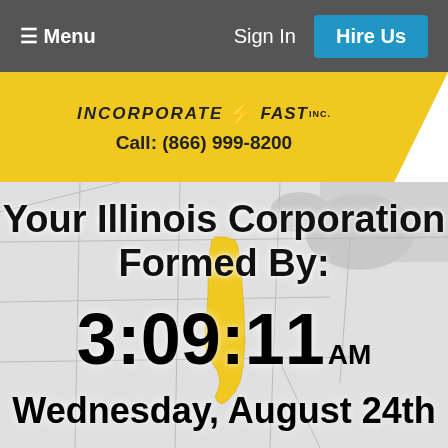☰ Menu    Sign In    Hire Us
[Figure (logo): Incorporate Fast Inc. logo with lightning bolt, call number (866) 999-8200 on yellow banner]
[Figure (map): Grayscale map of North America/Midwest with Illinois highlighted in yellow]
Your Illinois Corporation Formed By:
3:09:11 AM
Wednesday, August 24th